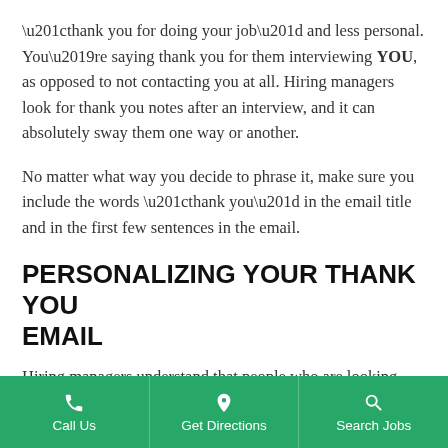“thank you for doing your job” and less personal. You’re saying thank you for them interviewing YOU, as opposed to not contacting you at all. Hiring managers look for thank you notes after an interview, and it can absolutely sway them one way or another.
No matter what way you decide to phrase it, make sure you include the words “thank you” in the email title and in the first few sentences in the email.
PERSONALIZING YOUR THANK YOU EMAIL
Hiring managers understand that people who are looking
Call Us | Get Directions | Search Jobs